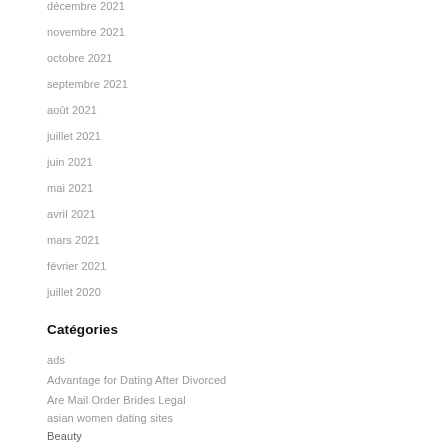décembre 2021
novembre 2021
octobre 2021
septembre 2021
août 2021
juillet 2021
juin 2021
mai 2021
avril 2021
mars 2021
février 2021
juillet 2020
Catégories
ads
Advantage for Dating After Divorced
Are Mail Order Brides Legal
asian women dating sites
Beauty
Best Foreign Dating Sites
best free dating sites